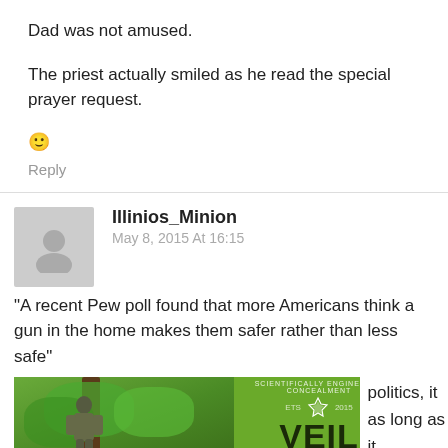Dad was not amused.
The priest actually smiled as he read the special prayer request.
🙂
Reply
Illinios_Minion
May 8, 2015 At 16:15
"A recent Pew poll found that more Americans think a gun in the home makes them safer rather than less safe"
[Figure (photo): A person in camouflage climbing a tree in a forest, next to a green VEIL CAMO advertisement logo]
politics, it as long as it